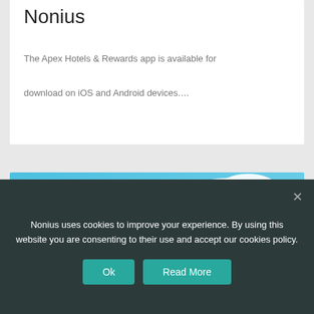Nonius
The Apex Hotels & Rewards app is available for download on iOS and Android devices....
[Figure (photo): Photo of a modern building with 'ASSISTENZA CA...' text overlay and Unimedix sign on the facade, set against a blue sky with clouds.]
Nonius uses cookies to improve your experience. By using this website you are consenting to their use and accept our cookies policy.